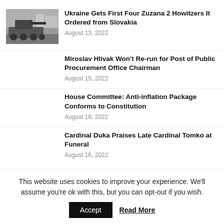[Figure (photo): Thumbnail photo of a military howitzer vehicle on a road]
Ukraine Gets First Four Zuzana 2 Howitzers It Ordered from Slovakia
August 13, 2022
Miroslav Hlivak Won't Re-run for Post of Public Procurement Office Chairman
August 15, 2022
House Committee: Anti-inflation Package Conforms to Constitution
August 18, 2022
Cardinal Duka Praises Late Cardinal Tomko at Funeral
August 16, 2022
This website uses cookies to improve your experience. We'll assume you're ok with this, but you can opt-out if you wish.